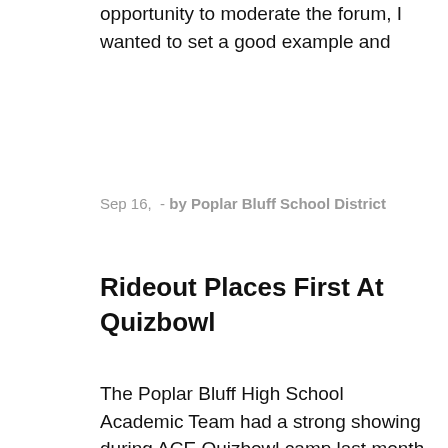opportunity to moderate the forum, I wanted to set a good example and
Sep 16,  - by Poplar Bluff School District
Rideout Places First At Quizbowl
The Poplar Bluff High School Academic Team had a strong showing during ACE Quizbowl camp last month at Lincoln College in Illinois. Jackson Rideout, the PBHS senior captain, took first place in the history tournament; sophomore Alyssa Cook, the JV